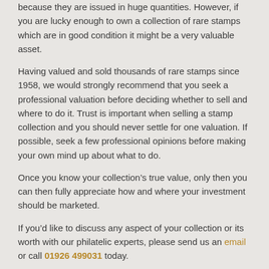because they are issued in huge quantities. However, if you are lucky enough to own a collection of rare stamps which are in good condition it might be a very valuable asset.
Having valued and sold thousands of rare stamps since 1958, we would strongly recommend that you seek a professional valuation before deciding whether to sell and where to do it. Trust is important when selling a stamp collection and you should never settle for one valuation. If possible, seek a few professional opinions before making your own mind up about what to do.
Once you know your collection’s true value, only then you can then fully appreciate how and where your investment should be marketed.
If you’d like to discuss any aspect of your collection or its worth with our philatelic experts, please send us an email or call 01926 499031 today.